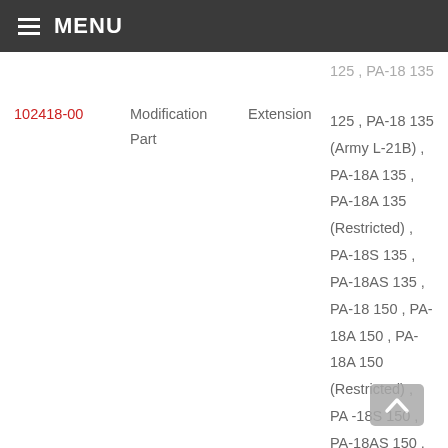MENU
| Part Number | Type | Extension | Models |
| --- | --- | --- | --- |
| 102418-00 | Modification Part | Extension | 125 , PA-18 135 (Army L-21B) , PA-18A 135 , PA-18A 135 (Restricted) , PA-18S 135 , PA-18AS 135 , PA-18 150 , PA-18A 150 , PA-18A 150 (Restricted) , PA -18S 150 , PA-18AS 150 , PA-19 (Army L- |